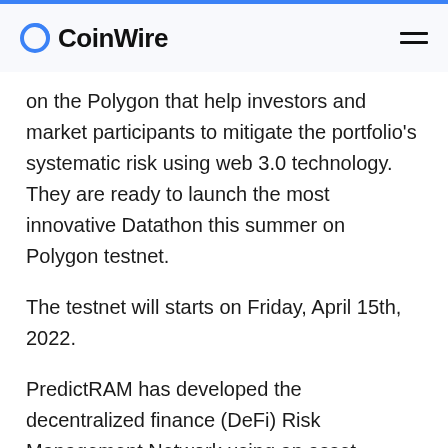CoinWire
on the Polygon that help investors and market participants to mitigate the portfolio's systematic risk using web 3.0 technology. They are ready to launch the most innovative Datathon this summer on Polygon testnet.
The testnet will starts on Friday, April 15th, 2022.
PredictRAM has developed the decentralized finance (DeFi) Risk Management Network using an asset-backed synthetic protocol